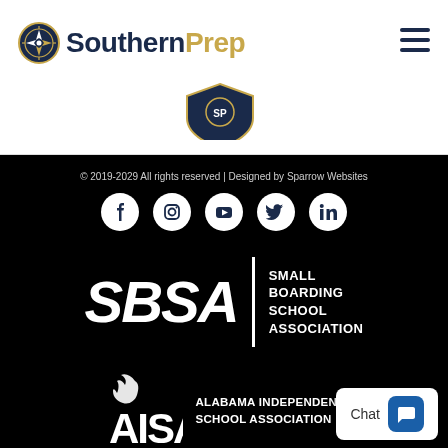[Figure (logo): SouthernPrep logo with compass/medallion icon and text 'SouthernPrep' in navy and gold]
[Figure (logo): Partial shield/crest logo at bottom of header]
© 2019-2029 All rights reserved | Designed by Sparrow Websites
[Figure (infographic): Five social media icons in white circles: Facebook, Instagram, YouTube, Twitter, LinkedIn]
[Figure (logo): SBSA - Small Boarding School Association logo in white on black background]
[Figure (logo): AISA - Alabama Independent School Association logo in white on black background with partial chat widget overlay]